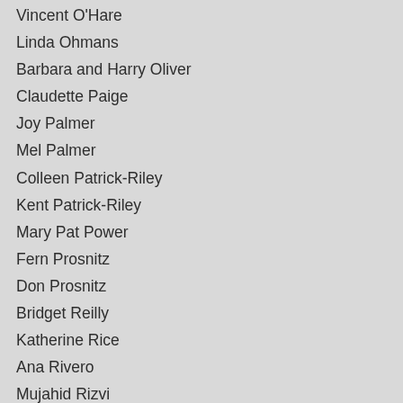Vincent O'Hare
Linda Ohmans
Barbara and Harry Oliver
Claudette Paige
Joy Palmer
Mel Palmer
Colleen Patrick-Riley
Kent Patrick-Riley
Mary Pat Power
Fern Prosnitz
Don Prosnitz
Bridget Reilly
Katherine Rice
Ana Rivero
Mujahid Rizvi
Donna Rose
Patricia Schein
Steve Schein
Kelli Schlapfer
Patty Seereiter
Susan Seereiter
Carolyn Shaffer
Laura Sheridan-Campbell